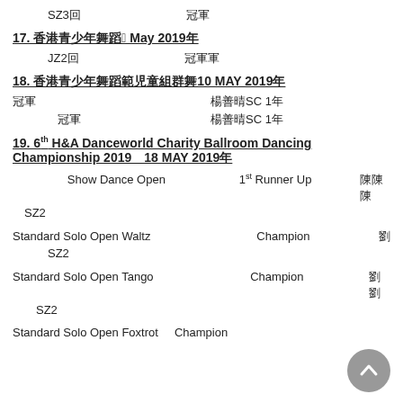SZ3　　　　　　　　　　　　　冠軍
17. 香港青少年舞蹈節5 May 2019年
JZ2　　　　　　　　　　　　　冠軍
18. 香港青少年舞蹈節兒童組群舞10 MAY 2019年
冠軍　　　　　　　　　　楊善晴SC 1年
冠軍　　　　　　　　　　楊善晴SC 1年
19. 6th H&A Danceworld Charity Ballroom Dancing Championship 2019　18 MAY 2019年
Show Dance Open　　　　1st Runner Up　　　　　　陳　SZ2
Standard Solo Open Waltz　　　Champion　　　　　　　劉　　SZ2
Standard Solo Open Tango　　　Champion　　　　　　　劉　SZ2
Standard Solo Open Foxtrot　　Champion